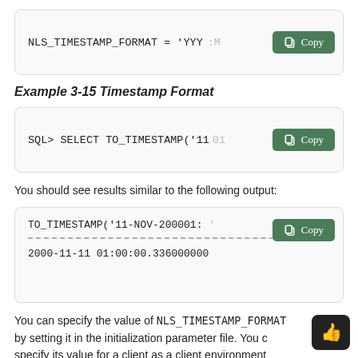[Figure (screenshot): Code box showing NLS_TIMESTAMP_FORMAT = 'YYY... with a green Copy button]
Example 3-15 Timestamp Format
[Figure (screenshot): Code box showing SQL> SELECT TO_TIMESTAMP('11... with a green Copy button and truncated text]
You should see results similar to the following output:
[Figure (screenshot): Code output box showing TO_TIMESTAMP('11-NOV-200001:... with Copy button, dashed separator, and 2000-11-11 01:00:00.336000000]
You can specify the value of NLS_TIMESTAMP_FORMAT by setting it in the initialization parameter file. You c specify its value for a client as a client environment